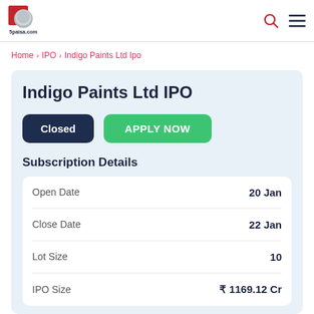5paisa.com
Home > IPO > Indigo Paints Ltd Ipo
Indigo Paints Ltd IPO
Closed  APPLY NOW
Subscription Details
| Field | Value |
| --- | --- |
| Open Date | 20 Jan |
| Close Date | 22 Jan |
| Lot Size | 10 |
| IPO Size | ₹ 1169.12 Cr |